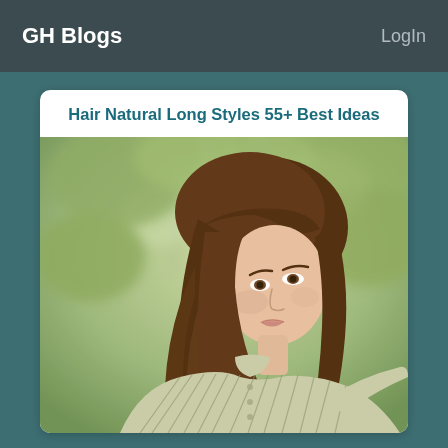GH Blogs   LogIn
Hair Natural Long Styles 55+ Best Ideas
[Figure (photo): Young woman with long brown hair with bangs, styled in a loose side ponytail, wearing a striped linen blouse, looking upward against a blurred green woodland background.]